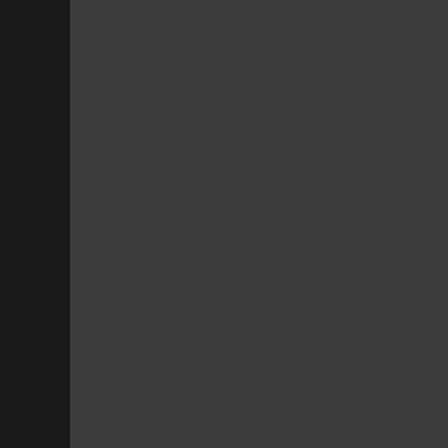Code listing showing XML sample elements with time attributes and stringValue="Support">1</sample> entries for times 1 through 11